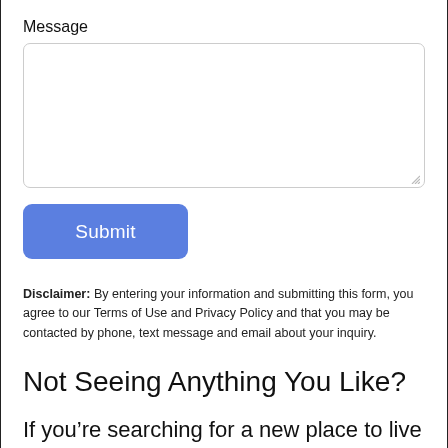Message
[Figure (other): A text area input field (empty, with rounded corners and resize handle)]
[Figure (other): A blue Submit button with rounded corners]
Disclaimer: By entering your information and submitting this form, you agree to our Terms of Use and Privacy Policy and that you may be contacted by phone, text message and email about your inquiry.
Not Seeing Anything You Like?
If you’re searching for a new place to live in Atlanta and aren’t seeing anything you like at